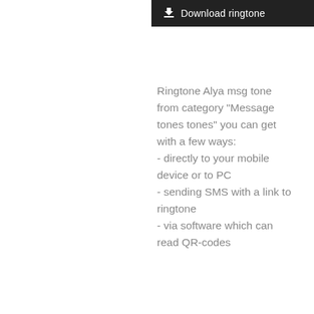[Figure (other): Dark download ringtone button with download icon and text 'Download ringtone']
Ringtone Alya msg tone from category "Message tones tones" you can get with a few ways:
- directly to your mobile device or to PC
- sending SMS with a link to ringtone
- via software which can read QR-codes